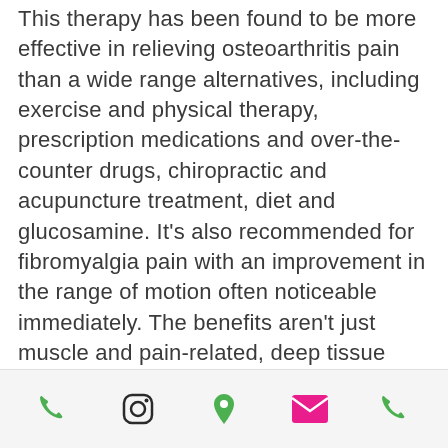This therapy has been found to be more effective in relieving osteoarthritis pain than a wide range alternatives, including exercise and physical therapy, prescription medications and over-the-counter drugs, chiropractic and acupuncture treatment, diet and glucosamine. It's also recommended for fibromyalgia pain with an improvement in the range of motion often noticeable immediately. The benefits aren't just muscle and pain-related, deep tissue massage treatment can lower blood pressure, heart rate and stress hormone levels. Massage is good for the mind as well as the body
[phone] [instagram] [location] [email] [phone]